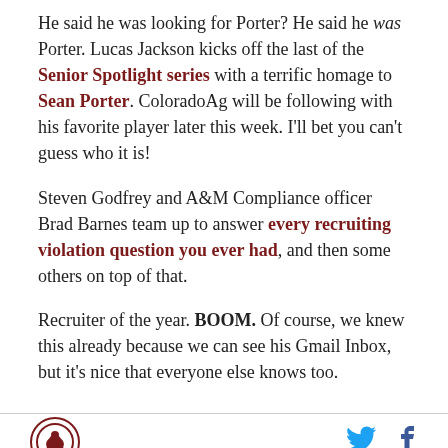He said he was looking for Porter? He said he was Porter. Lucas Jackson kicks off the last of the Senior Spotlight series with a terrific homage to Sean Porter. ColoradoAg will be following with his favorite player later this week. I'll bet you can't guess who it is!
Steven Godfrey and A&M Compliance officer Brad Barnes team up to answer every recruiting violation question you ever had, and then some others on top of that.
Recruiter of the year. BOOM. Of course, we knew this already because we can see his Gmail Inbox, but it's nice that everyone else knows too.
[Figure (logo): Circular logo with brown border containing a bird/sports mascot silhouette]
[Figure (logo): Twitter bird icon in blue]
[Figure (logo): Facebook f icon in dark blue]